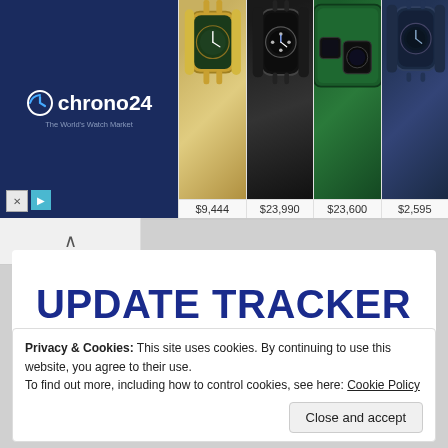[Figure (screenshot): Chrono24 advertisement banner showing logo and four luxury watches with prices: $9,444, $23,990, $23,600, $2,595]
UPDATE TRACKER
Privacy & Cookies: This site uses cookies. By continuing to use this website, you agree to their use.
To find out more, including how to control cookies, see here: Cookie Policy
Close and accept